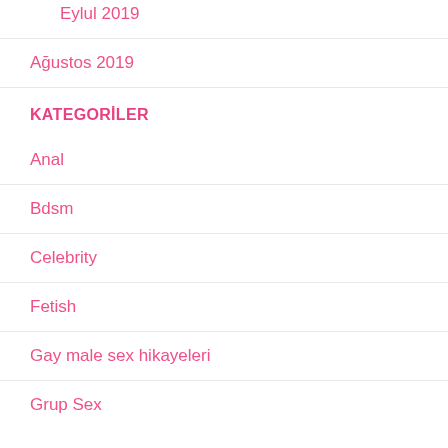Eylul 2019
Ağustos 2019
KATEGORİLER
Anal
Bdsm
Celebrity
Fetish
Gay male sex hikayeleri
Grup Sex